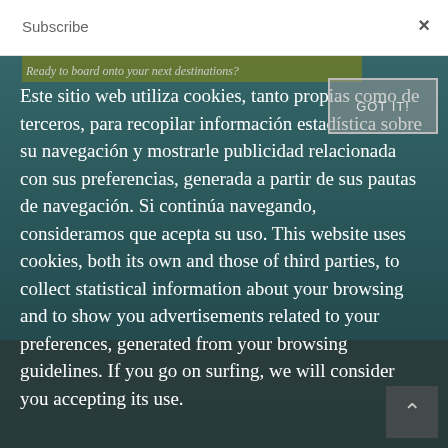Subscribe
Ready to board onto your next destinations?
for this virtual trip!
Este sitio web utiliza cookies, tanto propias como de terceros, para recopilar información estadística sobre su navegación y mostrarle publicidad relacionada con sus preferencias, generada a partir de sus pautas de navegación. Si continúa navegando, consideramos que acepta su uso. This website uses cookies, both its own and those of third parties, to collect statistical information about your browsing and to show you advertisements related to your preferences, generated from your browsing guidelines. If you go on surfing, we will consider you accepting its use.